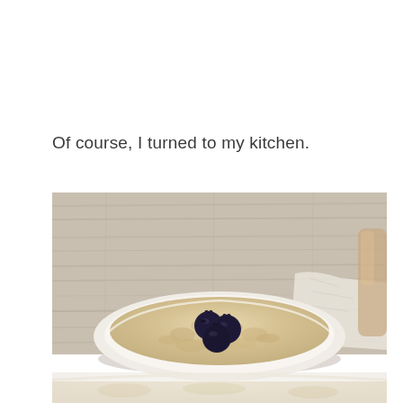Of course, I turned to my kitchen.
[Figure (photo): Overhead close-up photo of a white ceramic bowl filled with oatmeal/porridge topped with three blueberries, placed on a rustic wooden surface with a white cloth napkin and a glass jar visible in the background. The bottom portion of a second bowl of oatmeal is visible at the very bottom of the image.]